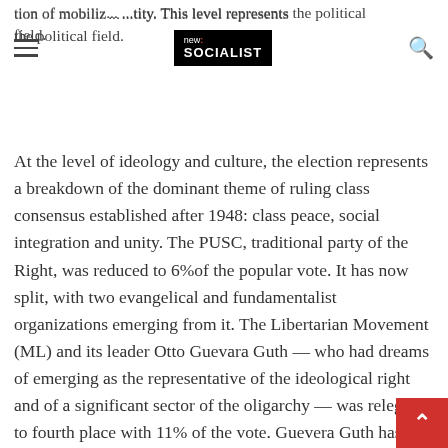new socialist [logo]
tion of mobiliz... ...tity. This level represents the political field.
At the level of ideology and culture, the election represents a breakdown of the dominant theme of ruling class consensus established after 1948: class peace, social integration and unity. The PUSC, traditional party of the Right, was reduced to 6%of the popular vote. It has now split, with two evangelical and fundamentalist organizations emerging from it. The Libertarian Movement (ML) and its leader Otto Guevara Guth — who had dreams of emerging as the representative of the ideological right and of a significant sector of the oligarchy — was relegated to fourth place with 11% of the vote. Guevera Guth has ties to the US Republican Right and the US embassy.